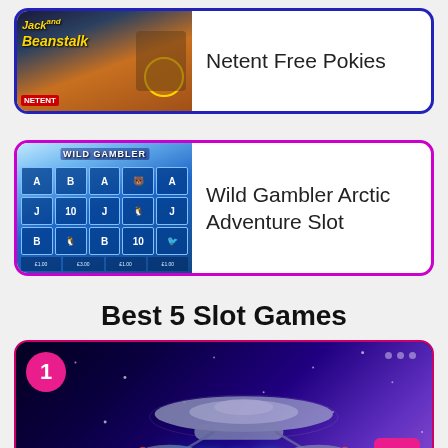[Figure (screenshot): Card with Jack and the Beanstalk slot game image on left, text 'Netent Free Pokies' on right, blue border]
Netent Free Pokies
[Figure (screenshot): Card with Wild Gambler Arctic Adventure slot game image on left, text 'Wild Gambler Arctic Adventure Slot' on right, pink/magenta border]
Wild Gambler Arctic Adventure Slot
Best 5 Slot Games
[Figure (screenshot): Best slot game card #1 showing a Star Trek themed slot game with spaceship image and STAR text, pink border, number badge '1', scroll-up button]